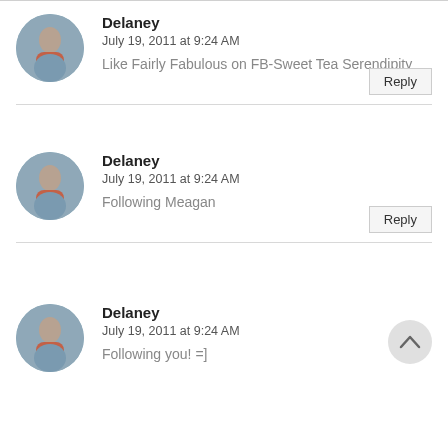Delaney
July 19, 2011 at 9:24 AM
Like Fairly Fabulous on FB-Sweet Tea Serendipity
Delaney
July 19, 2011 at 9:24 AM
Following Meagan
Delaney
July 19, 2011 at 9:24 AM
Following you! =]